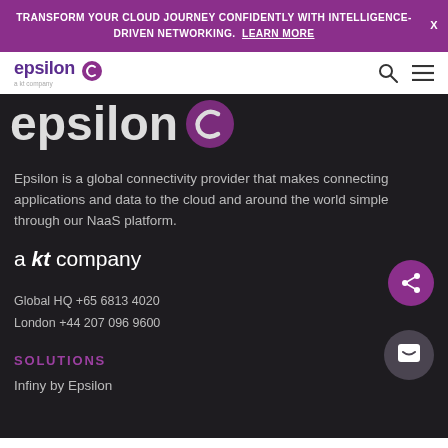TRANSFORM YOUR CLOUD JOURNEY CONFIDENTLY WITH INTELLIGENCE-DRIVEN NETWORKING. LEARN MORE
[Figure (logo): Epsilon logo with 'a kt company' tagline, search icon and hamburger menu icon]
epsilon
Epsilon is a global connectivity provider that makes connecting applications and data to the cloud and around the world simple through our NaaS platform.
a kt company
Global HQ +65 6813 4020
London +44 207 096 9600
SOLUTIONS
Infiny by Epsilon